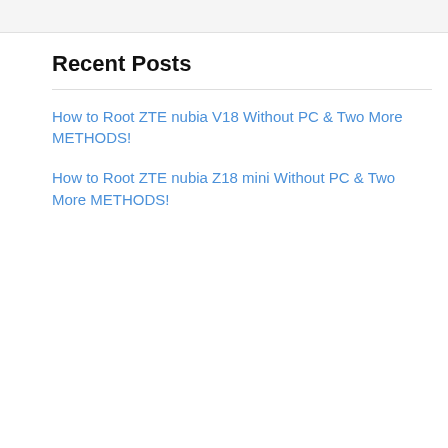Recent Posts
How to Root ZTE nubia V18 Without PC & Two More METHODS!
How to Root ZTE nubia Z18 mini Without PC & Two More METHODS!